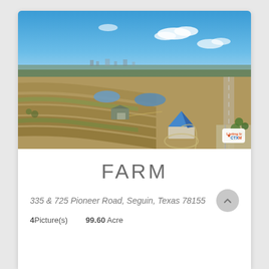[Figure (photo): Aerial drone photograph of a farm property showing open fields, two ponds, farm buildings, a structure with a blue pyramid roof near a road intersection, and a town visible in the background under blue sky. CTXMLS watermark badge in bottom-right corner.]
FARM
335 & 725 Pioneer Road, Seguin, Texas 78155
4 Picture(s)    99.60 Acre